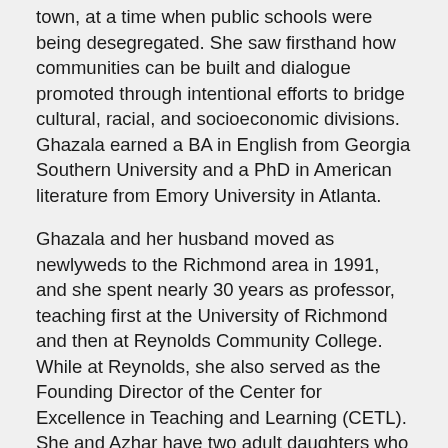town, at a time when public schools were being desegregated. She saw firsthand how communities can be built and dialogue promoted through intentional efforts to bridge cultural, racial, and socioeconomic divisions. Ghazala earned a BA in English from Georgia Southern University and a PhD in American literature from Emory University in Atlanta.
Ghazala and her husband moved as newlyweds to the Richmond area in 1991, and she spent nearly 30 years as professor, teaching first at the University of Richmond and then at Reynolds Community College. While at Reynolds, she also served as the Founding Director of the Center for Excellence in Teaching and Learning (CETL). She and Azhar have two adult daughters who were both born and raised in Midlothian, completed their K-12 education in Chesterfield County Public Schools, and attended Virginia public institutions of higher education.
Elected to office in November 2019, Senator Hashmi serves in the Virginia General Assembly, representing the 10th Senatorial District which includes parts of Richmond City, Chesterfield County, and all of